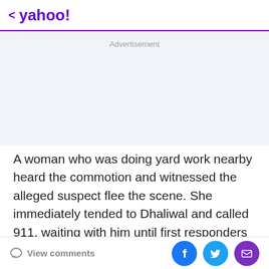< yahoo!
Advertisement
A woman who was doing yard work nearby heard the commotion and witnessed the alleged suspect flee the scene. She immediately tended to Dhaliwal and called 911, waiting with him until first responders arrived at the scene.
View comments